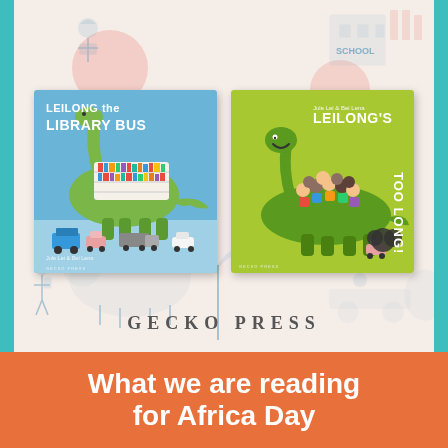[Figure (illustration): Two children's book covers side by side against a decorative illustrated background with light pink/cream tones and blue hand-drawn figures of animals and children. Left book: 'Leilong the Library Bus' showing a green dinosaur carrying library shelves on its back, with small vehicles around it, on a blue background. Right book: 'Leilong's Too Long!' showing a green dinosaur with children riding on its back, on a lime green background. Both published by Gecko Press. Teal/turquoise borders on left and right sides. 'GECKO PRESS' lettering centered below the books.]
What we are reading for Africa Day